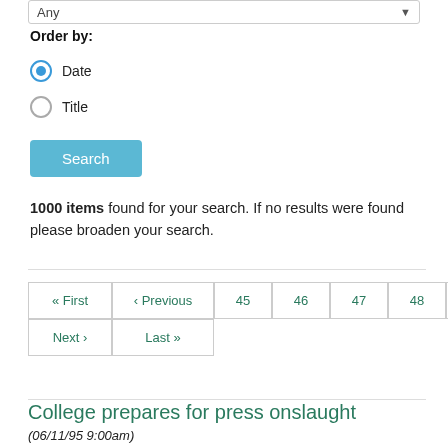Any
Order by:
Date (selected)
Title
Search
1000 items found for your search. If no results were found please broaden your search.
« First ‹ Previous 45 46 47 48 49 50 Next › Last »
College prepares for press onslaught
(06/11/95 9:00am)
Students hoping to make newspaper headlines after graduation